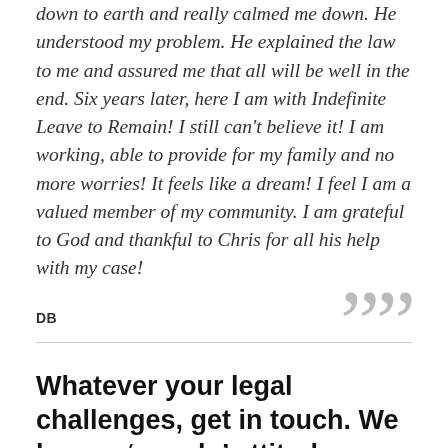down to earth and really calmed me down. He understood my problem. He explained the law to me and assured me that all will be well in the end. Six years later, here I am with Indefinite Leave to Remain! I still can't believe it! I am working, able to provide for my family and no more worries! It feels like a dream! I feel I am a valued member of my community. I am grateful to God and thankful to Chris for all his help with my case!
DB
Whatever your legal challenges, get in touch. We have a ‘can do’ attitude.